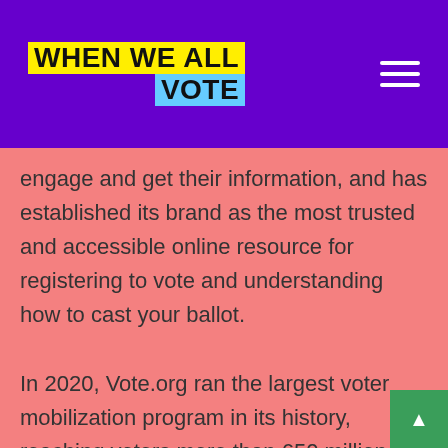WHEN WE ALL VOTE
engage and get their information, and has established its brand as the most trusted and accessible online resource for registering to vote and understanding how to cast your ballot.
In 2020, Vote.org ran the largest voter mobilization program in its history, reaching voters more than 650 million times, as well as signing up over 1,000 companies to provide paid time-off to vote for their employees. Over 39.4 million people sought deadlines, polling